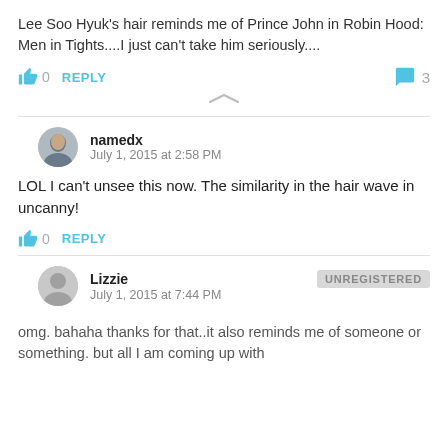Lee Soo Hyuk's hair reminds me of Prince John in Robin Hood: Men in Tights....I just can't take him seriously....
0  REPLY   3
namedx
July 1, 2015 at 2:58 PM
LOL I can't unsee this now. The similarity in the hair wave in uncanny!
0  REPLY
Lizzie  UNREGISTERED
July 1, 2015 at 7:44 PM
omg. bahaha thanks for that..it also reminds me of someone or something. but all I am coming up with